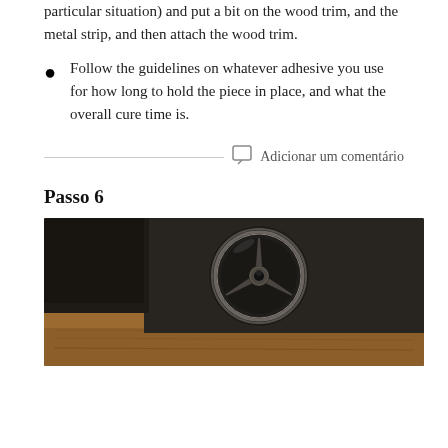simply a convenient and effective choice in this particular situation) and put a bit on the wood trim, and the metal strip, and then attach the wood trim.
Follow the guidelines on whatever adhesive you use for how long to hold the piece in place, and what the overall cure time is.
Adicionar um comentário
Passo 6
[Figure (photo): Car interior showing a circular air vent with a three-spoke center surrounded by dark plastic trim, mounted next to light wood trim paneling.]